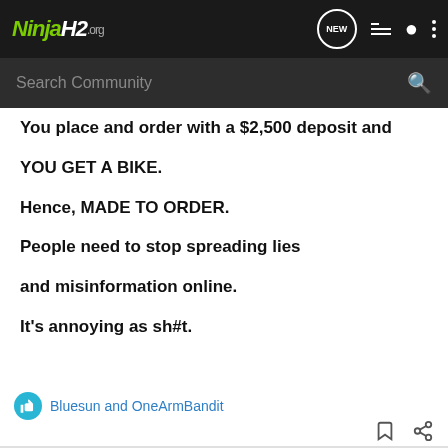NinjaH2.org — Search Community
You place and order with a $2,500 deposit and

YOU GET A BIKE.

Hence, MADE TO ORDER.

People need to stop spreading lies

and misinformation online.

It's annoying as sh#t.
Bluesun and OneArmBandit